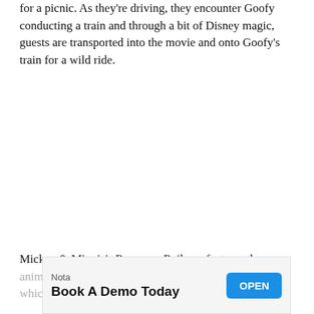for a picnic. As they're driving, they encounter Goofy conducting a train and through a bit of Disney magic, guests are transported into the movie and onto Goofy's train for a wild ride.
Mickey & Minnie's Runaway Railway features the same anim[ation] [characters and eleme]nts, which[...]
[Figure (screenshot): Advertisement banner overlay: Nota brand ad with text 'Book A Demo Today' and an 'OPEN' button in blue.]